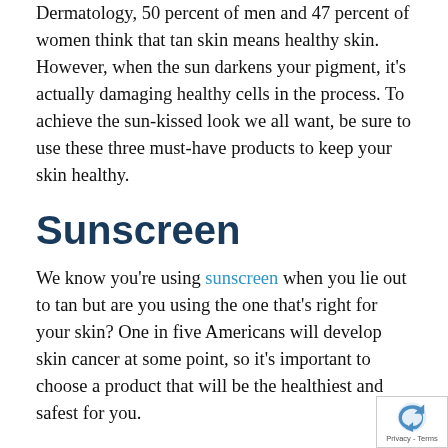Dermatology, 50 percent of men and 47 percent of women think that tan skin means healthy skin. However, when the sun darkens your pigment, it's actually damaging healthy cells in the process. To achieve the sun-kissed look we all want, be sure to use these three must-have products to keep your skin healthy.
Sunscreen
We know you're using sunscreen when you lie out to tan but are you using the one that's right for your skin? One in five Americans will develop skin cancer at some point, so it's important to choose a product that will be the healthiest and safest for you.
To make sure your skin is being protected against both UVA and UVB rays, the sunscreen you use must be broad-spectrum, water-resistant and have an SPF of at least your product on your body as you spend time outside, even if